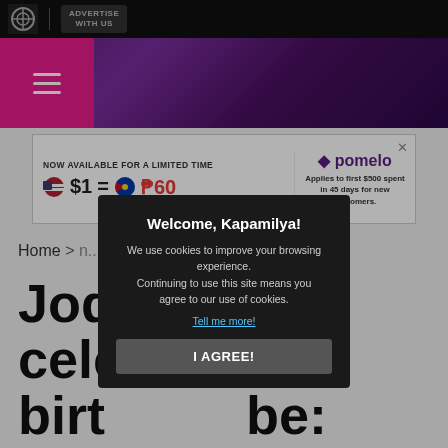ABS-CBN | ADVERTISE WITH US
[Figure (screenshot): Purple gradient banner with hamburger menu icon]
[Figure (infographic): Advertisement banner: NOW AVAILABLE FOR A LIMITED TIME $1 = ₱60 pomelo Applies to first $500 spent in 45 days for new customers.]
Home >
Jodi celebrates birthday... 'It's been a great year
[Figure (screenshot): Cookie consent modal: Welcome, Kapamilya! We use cookies to improve your browsing experience. Continuing to use this site means you agree to our use of cookies. Tell me more! I AGREE!]